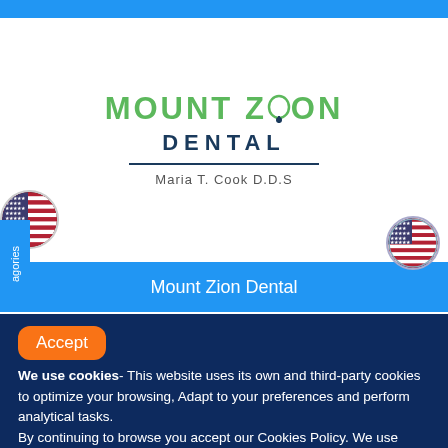[Figure (logo): Mount Zion Dental logo with text 'MOUNT ZION DENTAL' and 'Maria T. Cook D.D.S']
Mount Zion Dental
Accept
We use cookies- This website uses its own and third-party cookies to optimize your browsing, Adapt to your preferences and perform analytical tasks.
By continuing to browse you accept our Cookies Policy. We use cookies to deliver our services and to analyze traffic.
United States